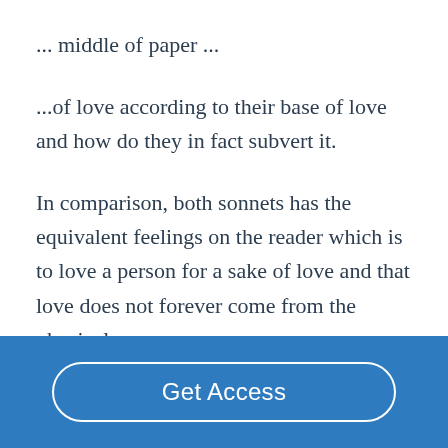... middle of paper ...
...of love according to their base of love and how do they in fact subvert it.
In comparison, both sonnets has the equivalent feelings on the reader which is to love a person for a sake of love and that love does not forever come from the physical
Get Access